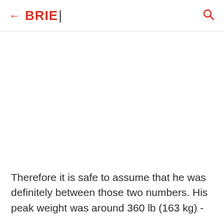← BRIE| 🔍
Therefore it is safe to assume that he was definitely between those two numbers. His peak weight was around 360 lb (163 kg) -